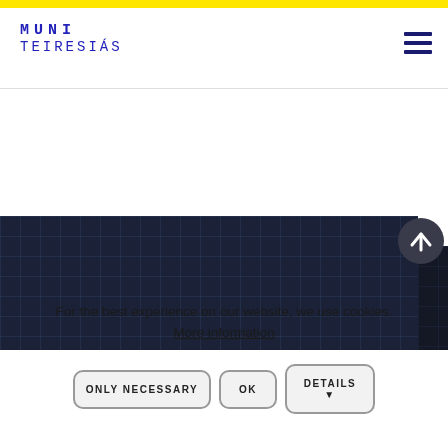[Figure (logo): MUNI TEIRESIÁS logo in blue monospace text]
[Figure (illustration): Dark navy grid-patterned background section]
[Figure (illustration): Back-to-top circular arrow button]
For the best experience on our website, we use cookies.
More information
ONLY NECESSARY
OK
DETAILS ▼